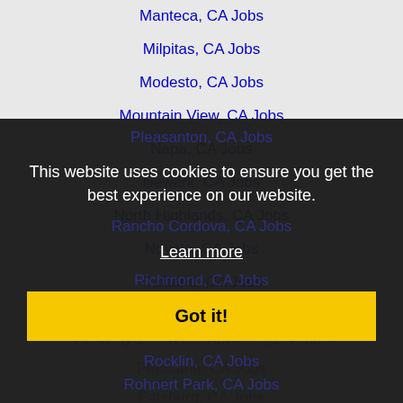Manteca, CA Jobs
Milpitas, CA Jobs
Modesto, CA Jobs
Mountain View, CA Jobs
Napa, CA Jobs
Newark, CA Jobs
North Highlands, CA Jobs
Novato, CA Jobs
Oakland, CA Jobs
Palo Alto, CA Jobs
Parkway-South Sacramento, CA Jobs
Petaluma, CA Jobs
Pittsburg, CA Jobs
Pleasanton, CA Jobs
Rancho Cordova, CA Jobs
Richmond, CA Jobs
Rocklin, CA Jobs
Rohnert Park, CA Jobs
This website uses cookies to ensure you get the best experience on our website.
Learn more
Got it!